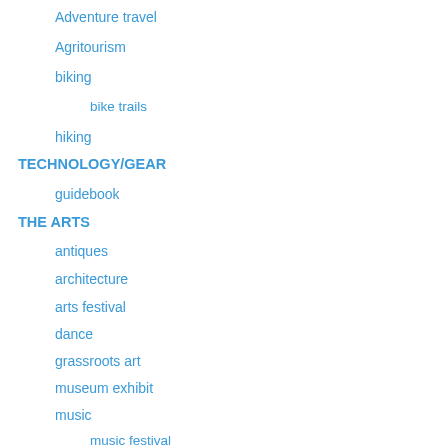Adventure travel
Agritourism
biking
bike trails
hiking
TECHNOLOGY/GEAR
guidebook
THE ARTS
antiques
architecture
arts festival
dance
grassroots art
museum exhibit
music
music festival
theater
TRANSPORTATION
animal transport
bus service